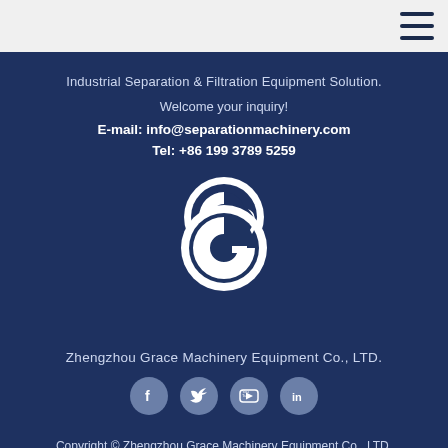Industrial Separation & Filtration Equipment Solution.
Welcome your inquiry!
E-mail: info@separationmachinery.com
Tel: +86 199 3789 5259
[Figure (logo): Zhengzhou Grace Machinery Equipment Co., LTD. circular logo with stylized G letter]
Zhengzhou Grace Machinery Equipment Co., LTD.
[Figure (illustration): Social media icons: Facebook, Twitter, YouTube, LinkedIn]
Copyright © Zhengzhou Grace Machinery Equipment Co., LTD. All Rights Reserved